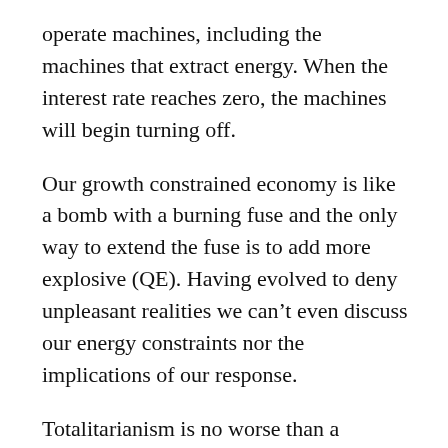operate machines, including the machines that extract energy. When the interest rate reaches zero, the machines will begin turning off.
Our growth constrained economy is like a bomb with a burning fuse and the only way to extend the fuse is to add more explosive (QE). Having evolved to deny unpleasant realities we can’t even discuss our energy constraints nor the implications of our response.
Totalitarianism is no worse than a democracy of idiots. — AJ
I apologize to a few of you for most of you. — God
How convenient that CO2 emissions will go to